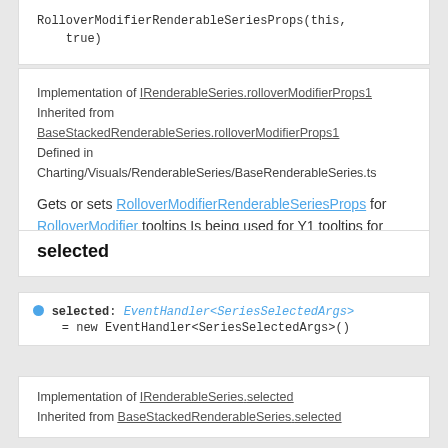RolloverModifierRenderableSeriesProps(this, true)
Implementation of IRenderableSeries.rolloverModifierProps1 Inherited from BaseStackedRenderableSeries.rolloverModifierProps1 Defined in Charting/Visuals/RenderableSeries/BaseRenderableSeries.ts
Gets or sets RolloverModifierRenderableSeriesProps for RolloverModifier tooltips Is being used for Y1 tooltips for FastBandRenderableSeries
selected
selected: EventHandler<SeriesSelectedArgs> = new EventHandler<SeriesSelectedArgs>()
Implementation of IRenderableSeries.selected Inherited from BaseStackedRenderableSeries.selected